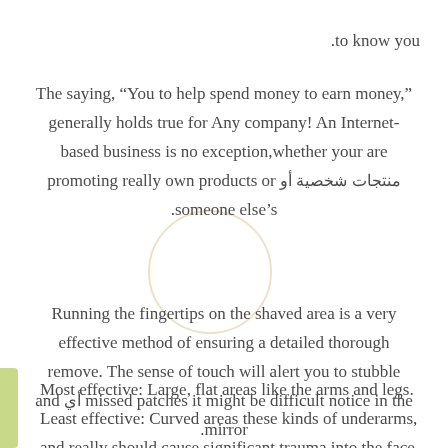.to know you
The saying, “You to help spend money to earn money,” generally holds true for Any company! An Internet-based business is no exception,whether your are promoting really own products or منتجات شخصية أو someone else’s.
Running the fingertips on the shaved area is a very effective method of ensuring a detailed thorough remove. The sense of touch will alert you to stubble and أي missed patches it might be difficult notice in the mirror.
Most effective: Large, flat areas like the arms and legs. Least effective: Curved areas these kinds of underarms, and really should cause significant trauma into the face